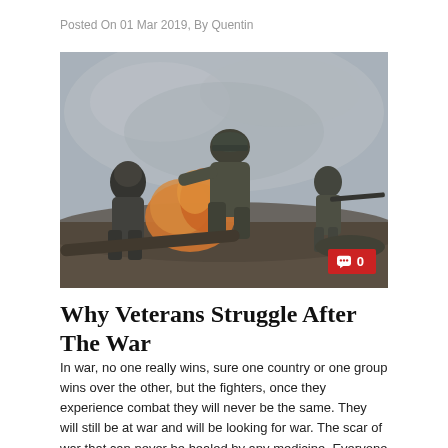Posted On 01 Mar 2019, By Quentin
[Figure (photo): Soldiers running in combat, with fire and smoke in the background — a war scene depicting soldiers advancing under fire.]
Why Veterans Struggle After The War
In war, no one really wins, sure one country or one group wins over the other, but the fighters, once they experience combat they will never be the same. They will still be at war and will be looking for war. The scar of war that can never be healed by any medicine. Everyone is a